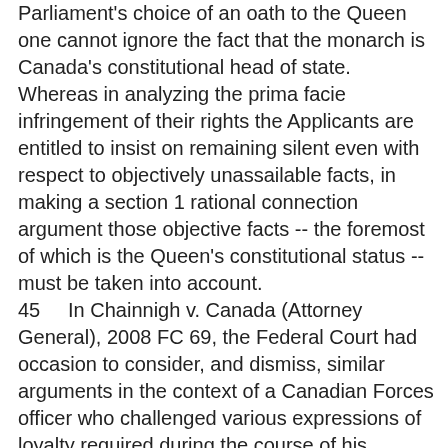Parliament's choice of an oath to the Queen one cannot ignore the fact that the monarch is Canada's constitutional head of state. Whereas in analyzing the prima facie infringement of their rights the Applicants are entitled to insist on remaining silent even with respect to objectively unassailable facts, in making a section 1 rational connection argument those objective facts -- the foremost of which is the Queen's constitutional status -- must be taken into account.
45     In Chainnigh v. Canada (Attorney General), 2008 FC 69, the Federal Court had occasion to consider, and dismiss, similar arguments in the context of a Canadian Forces officer who challenged various expressions of loyalty required during the course of his military service. As Barnes J. put it, at para. 49, "the fact remains that our present ties to the British monarchy are constitutionally entrenched and unless and until that is changed there is legitimacy within our institutional structures for demanding, in appropriate circumstances, expressions of respect and loyalty to the Crown."
46     It is certainly rational for Parliament to have embraced an oath that references in a direct way Canada's official head of state. Whatever problems the Applicants think are associated with the monarchy, it is not irrational for